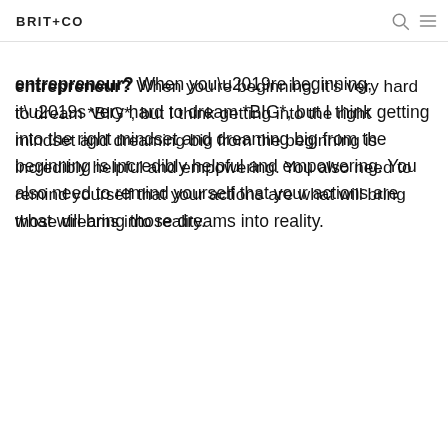BRIT+CO
entrepreneur? When you’re beginning, it’s very hard to dream *BIG*, but I think getting into the right mindset and dreaming big from the beginning is incredibly helpful and empowering. You also need to remind yourself that your actions are what will bring those dreams into reality.